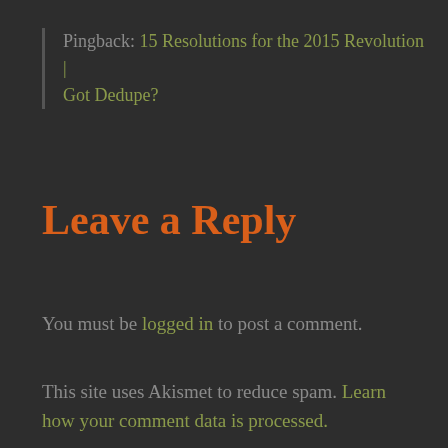Pingback: 15 Resolutions for the 2015 Revolution | Got Dedupe?
Leave a Reply
You must be logged in to post a comment.
This site uses Akismet to reduce spam. Learn how your comment data is processed.